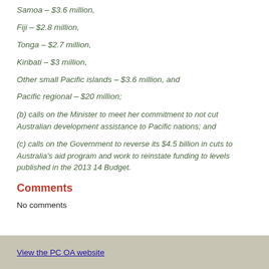Samoa – $3.6 million,
Fiji – $2.8 million,
Tonga – $2.7 million,
Kiribati – $3 million,
Other small Pacific islands – $3.6 million, and
Pacific regional – $20 million;
(b) calls on the Minister to meet her commitment to not cut Australian development assistance to Pacific nations; and
(c) calls on the Government to reverse its $4.5 billion in cuts to Australia's aid program and work to reinstate funding to levels published in the 2013 14 Budget.
Comments
No comments
View the PC OA website